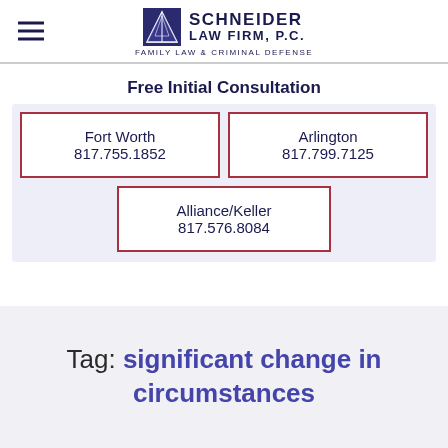Schneider Law Firm, P.C. — Family Law & Criminal Defense
Free Initial Consultation
Fort Worth
817.755.1852
Arlington
817.799.7125
Alliance/Keller
817.576.8084
Tag: significant change in circumstances